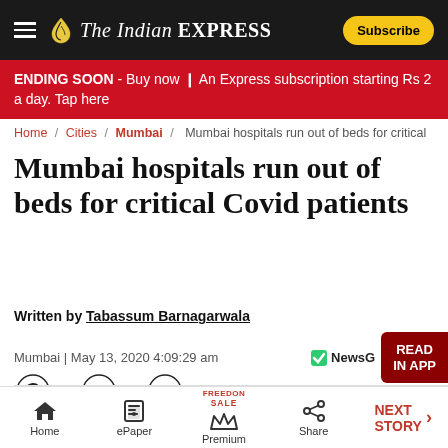The Indian EXPRESS | Subscribe
ENDING SOON - Buy now ❙ An Express subscription starting Rs 2 a day. Tap here
Home / Cities / Mumbai / Mumbai hospitals run out of beds for critical
Mumbai hospitals run out of beds for critical Covid patients
Written by Tabassum Barnagarwala
Mumbai | May 13, 2020 4:09:29 am
Home | ePaper | Premium | Share | NEXT STORY →